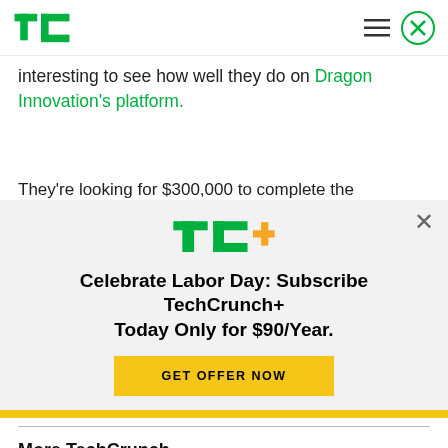TechCrunch
interesting to see how well they do on Dragon Innovation's platform.
[Figure (infographic): TechCrunch+ subscription modal with TC+ logo, headline 'Celebrate Labor Day: Subscribe TechCrunch+ Today Only for $90/Year.' and a yellow GET OFFER NOW button]
More TechCrunch